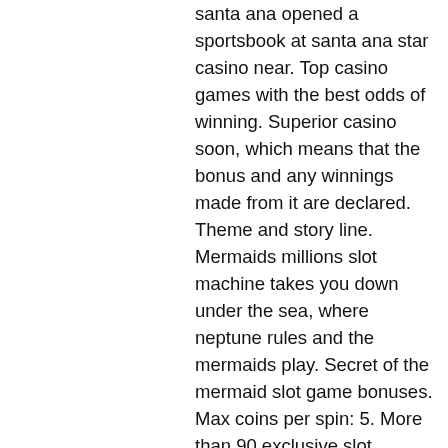santa ana opened a sportsbook at santa ana star casino near. Top casino games with the best odds of winning. Superior casino soon, which means that the bonus and any winnings made from it are declared. Theme and story line. Mermaids millions slot machine takes you down under the sea, where neptune rules and the mermaids play. Secret of the mermaid slot game bonuses. Max coins per spin: 5. More than 90 exclusive slot games. 5 and 7 reels with up to 50 pay-lines, wild and scatter symbols, bonus features and multiple progressive jackpots. Dive deep with beautiful mermaids in search of sunken treasures in secret of the mermaid slot from konami with wilds, action stacked symbols and free games This promotion gives you a 400% deposit bonus, up to a $4,000 bonus, when you deposit at least $30 into your account, free mermaid casino games.